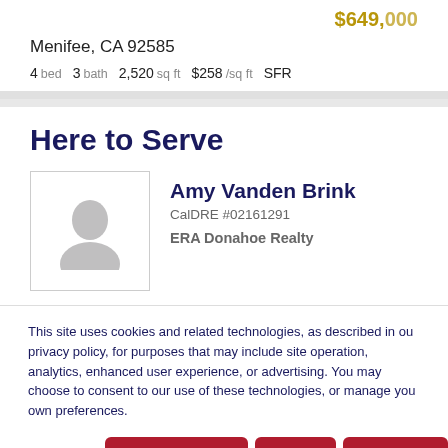$[partially visible price]
Menifee, CA 92585
4 bed  3 bath  2,520 sq ft  $258 /sq ft  SFR
Here to Serve
Amy Vanden Brink
CalDRE #02161291
ERA Donahoe Realty
This site uses cookies and related technologies, as described in our privacy policy, for purposes that may include site operation, analytics, enhanced user experience, or advertising. You may choose to consent to our use of these technologies, or manage your own preferences.
Manage Settings  Accept  Decline All